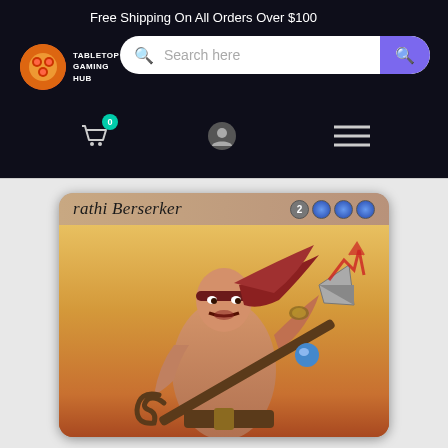Free Shipping On All Orders Over $100
[Figure (screenshot): Tabletop Gaming Hub website header with logo, search bar, and navigation icons]
[Figure (photo): Magic: The Gathering card — rathi Berserker with mana cost 2UUU, showing a muscular warrior with long red hair wielding a pole weapon, against a yellow/red background]